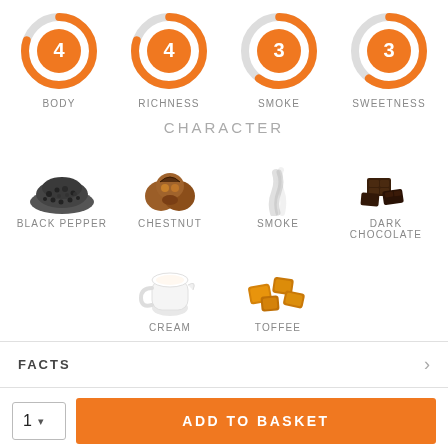[Figure (infographic): Four donut/gauge charts showing ratings: BODY=4, RICHNESS=4, SMOKE=3, SWEETNESS=3. Each has an orange filled circle center with white number, surrounded by a partial orange arc on grey ring.]
BODY
RICHNESS
SMOKE
SWEETNESS
CHARACTER
[Figure (illustration): Black pepper pile illustration]
BLACK PEPPER
[Figure (illustration): Chestnut illustration]
CHESTNUT
[Figure (illustration): Smoke wisp illustration]
SMOKE
[Figure (illustration): Dark chocolate pieces illustration]
DARK CHOCOLATE
[Figure (illustration): Cream jug illustration]
CREAM
[Figure (illustration): Toffee pieces illustration]
TOFFEE
FACTS
ADD TO BASKET